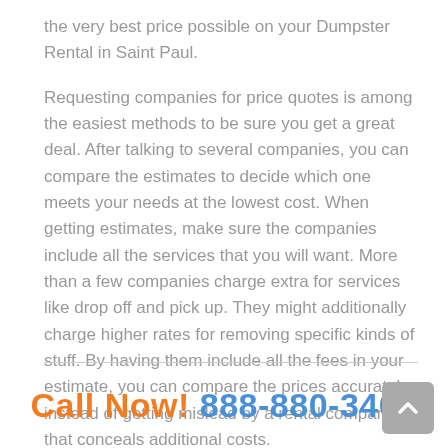the very best price possible on your Dumpster Rental in Saint Paul.
Requesting companies for price quotes is among the easiest methods to be sure you get a great deal. After talking to several companies, you can compare the estimates to decide which one meets your needs at the lowest cost. When getting estimates, make sure the companies include all the services that you will want. More than a few companies charge extra for services like drop off and pick up. They might additionally charge higher rates for removing specific kinds of stuff. By having them include all the fees in your estimate, you can compare the prices accurately instead of getting mislead by a rental company that conceals additional costs.
Call Now! 888-880-3407